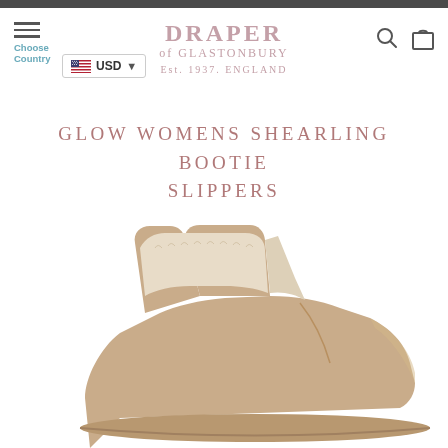DRAPER of GLASTONBURY Est. 1937. ENGLAND
GLOW WOMENS SHEARLING BOOTIE SLIPPERS
[Figure (photo): A pair of tan/beige shearling bootie slippers photographed from the side, showing the fluffy cream shearling interior lining visible at the top opening.]